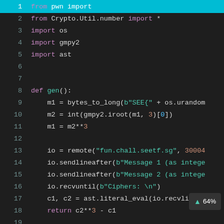[Figure (screenshot): Python source code editor screenshot showing lines 1–21 of a CTF challenge solution script. Lines include imports (Crypto.Util.number, os, gmpy2, ast), a gen() function that constructs messages, connects to a remote server, and returns c2**3 - c1. A badge showing '64%' appears at bottom right.]